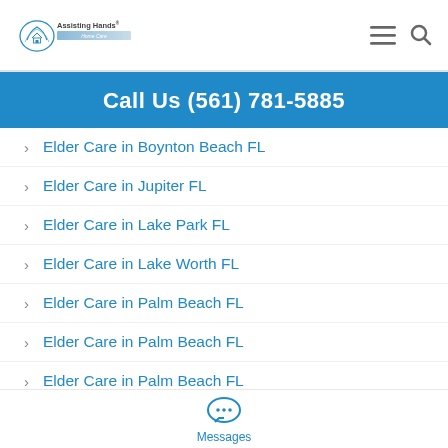Assisting Hands Home Care
Call Us (561) 781-5885
Elder Care in Boynton Beach FL
Elder Care in Jupiter FL
Elder Care in Lake Park FL
Elder Care in Lake Worth FL
Elder Care in Palm Beach FL
Elder Care in Palm Beach FL
Elder Care in Palm Beach FL
Elder Care in Palm Beach Gardens FL
Messages